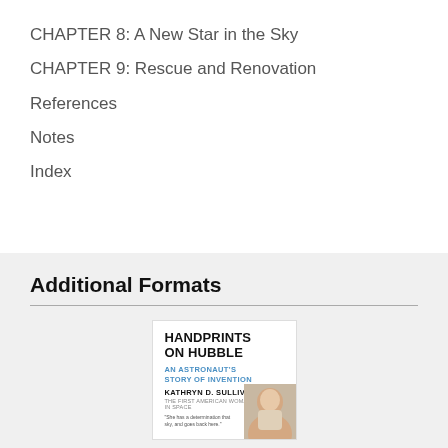CHAPTER 8: A New Star in the Sky
CHAPTER 9: Rescue and Renovation
References
Notes
Index
Additional Formats
[Figure (illustration): Book cover of 'Handprints on Hubble: An Astronaut's Story of Invention' by Kathryn D. Sullivan, showing the title in bold black text, subtitle in blue, author name, and a photo of the author.]